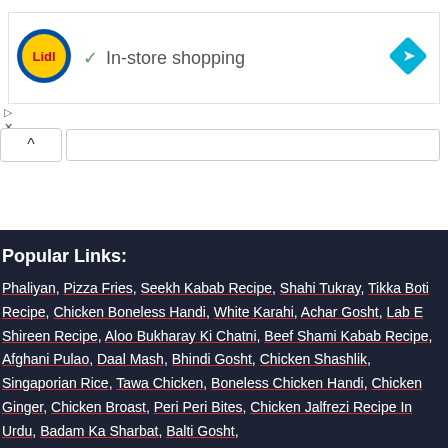[Figure (logo): Lidl logo with yellow circle and red Lidl text, blue border]
✓ In-store shopping
[Figure (other): Blue diamond navigation/directions icon]
▷
✕
^
Popular Links:
Phaliyan, Pizza Fries, Seekh Kabab Recipe, Shahi Tukray, Tikka Boti Recipe, Chicken Boneless Handi, White Karahi, Achar Gosht, Lab E Shireen Recipe, Aloo Bukharay Ki Chatni, Beef Shami Kabab Recipe, Afghani Pulao, Daal Mash, Bhindi Gosht, Chicken Shashlik, Singaporian Rice, Tawa Chicken, Boneless Chicken Handi, Chicken Ginger, Chicken Broast, Peri Peri Bites, Chicken Jalfrezi Recipe In Urdu, Badam Ka Sharbat, Balti Gosht,